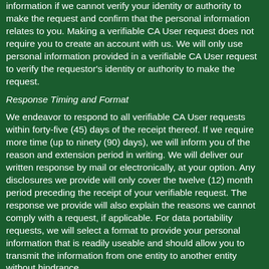information if we cannot verify your identity or authority to make the request and confirm that the personal information relates to you. Making a verifiable CA User request does not require you to create an account with us. We will only use personal information provided in a verifiable CA User request to verify the requestor's identity or authority to make the request.
Response Timing and Format
We endeavor to respond to all verifiable CA User requests within forty-five (45) days of the receipt thereof. If we require more time (up to ninety (90) days), we will inform you of the reason and extension period in writing. We will deliver our written response by mail or electronically, at your option. Any disclosures we provide will only cover the twelve (12) month period preceding the receipt of your verifiable request. The response we provide will also explain the reasons we cannot comply with a request, if applicable. For data portability requests, we will select a format to provide your personal information that is readily useable and should allow you to transmit the information from one entity to another entity without hindrance.
We do not charge a fee to process or respond to your verifiable CA User request unless it is excessive, repetitive, or manifestly unfounded. If we determine that the request warrants a fee, we will tell you why we made that decision and provide you with a cost estimate before